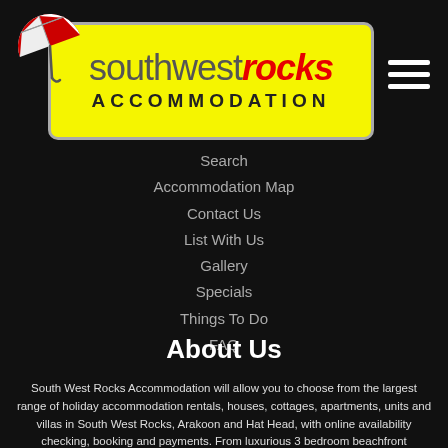[Figure (logo): Southwest Rocks Accommodation logo with red and white umbrella on yellow badge background, text 'southwestrocks ACCOMMODATION']
Search
Accommodation Map
Contact Us
List With Us
Gallery
Specials
Things To Do
FAQ
About Us
South West Rocks Accommodation will allow you to choose from the largest range of holiday accommodation rentals, houses, cottages, apartments, units and villas in South West Rocks, Arakoon and Hat Head, with online availability checking, booking and payments. From luxurious 3 bedroom beachfront apartments, through to 5 bedroom cottages for the family, to one bedroom cabins at Trial Bay. Perfect for your relaxing holiday be it to fish, surf, sail, bush walk, scuba dive or just relax on the beach.